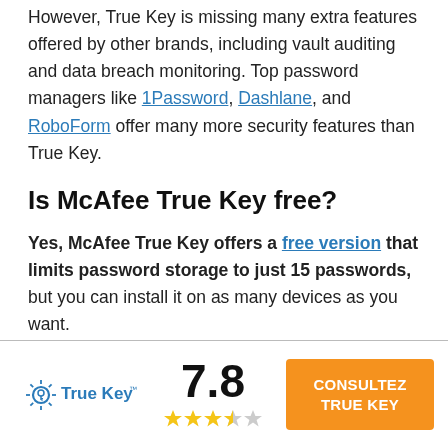However, True Key is missing many extra features offered by other brands, including vault auditing and data breach monitoring. Top password managers like 1Password, Dashlane, and RoboForm offer many more security features than True Key.
Is McAfee True Key free?
Yes, McAfee True Key offers a free version that limits password storage to just 15 passwords, but you can install it on as many devices as you want.
True Key's premium version lets you store an
[Figure (logo): True Key logo with sunburst icon and blue text]
7.8
[Figure (infographic): Star rating showing 3.5 to 4 stars out of 5 with gold and grey stars]
CONSULTEZ TRUE KEY